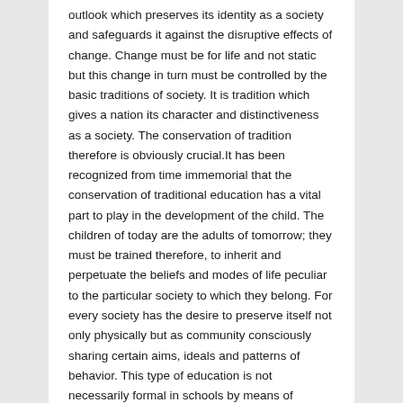outlook which preserves its identity as a society and safeguards it against the disruptive effects of change. Change must be for life and not static but this change in turn must be controlled by the basic traditions of society. It is tradition which gives a nation its character and distinctiveness as a society. The conservation of tradition therefore is obviously crucial.It has been recognized from time immemorial that the conservation of traditional education has a vital part to play in the development of the child. The children of today are the adults of tomorrow; they must be trained therefore, to inherit and perpetuate the beliefs and modes of life peculiar to the particular society to which they belong. For every society has the desire to preserve itself not only physically but as community consciously sharing certain aims, ideals and patterns of behavior. This type of education is not necessarily formal in schools by means of classroom instruction but that effected indirectly through the family and through the impact on the individual of social influences and customs which the child cannot evade. In Sierra Leone this social education included elaborate